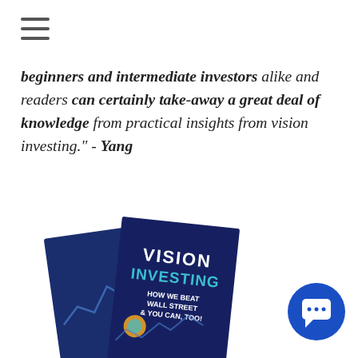[Figure (other): Hamburger menu icon (three horizontal lines) in top left corner]
beginners and intermediate investors alike and readers can certainly take-away a great deal of knowledge from practical insights from vision investing." - Yang
[Figure (photo): Book cover image of 'Vision Investing: How We Beat Wall Street & You Can, Too!' showing stacked book copies on a dark blue cover with a stock chart graphic]